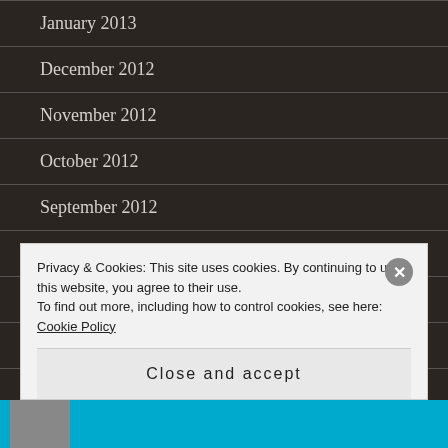January 2013
December 2012
November 2012
October 2012
September 2012
August 2012
July 2012
June 2012
Privacy & Cookies: This site uses cookies. By continuing to use this website, you agree to their use.
To find out more, including how to control cookies, see here: Cookie Policy
Close and accept